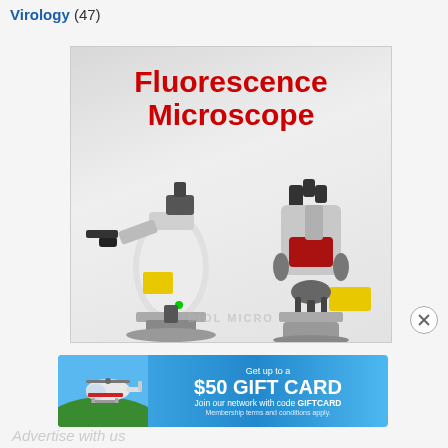Virology (47)
[Figure (photo): Advertisement showing two fluorescence microscopes on a light gray background with bold red text reading 'Fluorescence Microscope']
[Figure (photo): Advertisement banner with a helicopter image on blue background offering 'Get up to a $50 GIFT CARD - Join our network with code GIFTCARD - Membership terms and conditions apply.']
Advertise with us